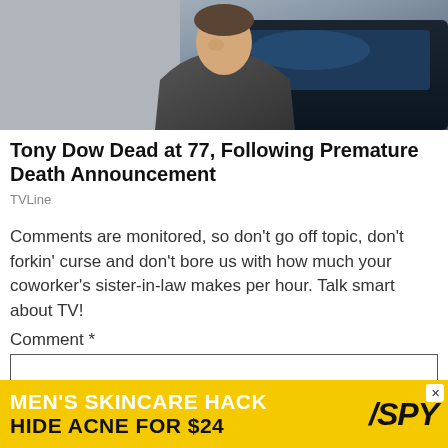[Figure (photo): Photo of Tony Dow, partially visible, cropped at top, showing upper body against a dark background with a vehicle visible]
Tony Dow Dead at 77, Following Premature Death Announcement
TVLine
Comments are monitored, so don't go off topic, don't forkin' curse and don't bore us with how much your coworker's sister-in-law makes per hour. Talk smart about TV!
Comment *
[Figure (screenshot): Empty comment text area input box with border]
[Figure (infographic): Advertisement banner: MEN'S SKINCARE HACK / HIDE ACNE FOR $24 with SPY logo on yellow background]